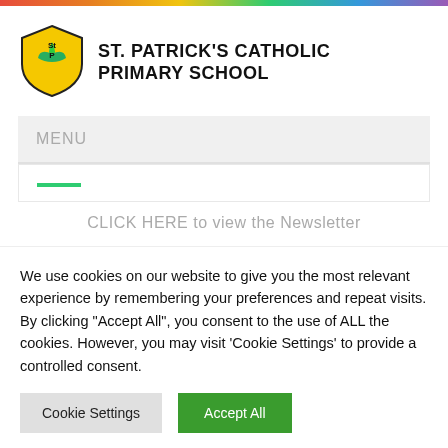ST. PATRICK'S CATHOLIC PRIMARY SCHOOL
MENU
CLICK HERE to view the Newsletter
We use cookies on our website to give you the most relevant experience by remembering your preferences and repeat visits. By clicking "Accept All", you consent to the use of ALL the cookies. However, you may visit 'Cookie Settings' to provide a controlled consent.
Cookie Settings
Accept All